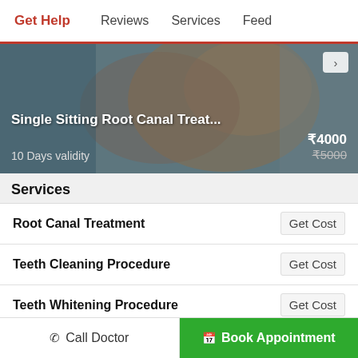Get Help | Reviews | Services | Feed
[Figure (photo): Dental treatment photo showing a patient with open mouth being treated by a dentist, with overlay showing Single Sitting Root Canal Treatment offer at ₹4000 (original ₹5000), 10 Days validity]
Services
| Service | Action |
| --- | --- |
| Root Canal Treatment | Get Cost |
| Teeth Cleaning Procedure | Get Cost |
| Teeth Whitening Procedure | Get Cost |
| Dental Fillings | Get Cost |
Call Doctor | Book Appointment